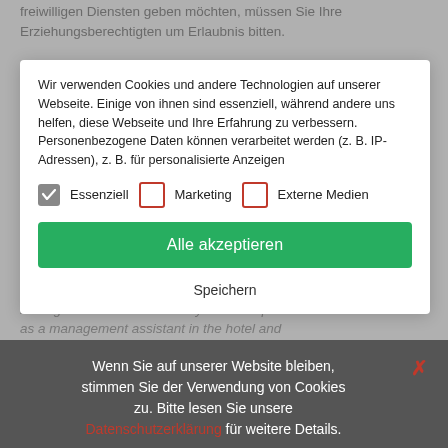freiwilligen Diensten geben möchten, müssen Sie Ihre Erziehungsberechtigten um Erlaubnis bitten.
communication. Outside of work, Christopher likes to indulge a passion for motorbikes, working in social business an exciting challenge enormous potential
Wir verwenden Cookies und andere Technologien auf unserer Webseite. Einige von ihnen sind essenziell, während andere uns helfen, diese Webseite und Ihre Erfahrung zu verbessern. Personenbezogene Daten können verarbeitet werden (z. B. IP-Adressen), z. B. für personalisierte Anzeigen
Essenziell   Marketing   Externe Medien
December 2015 she has been charge of all office management tasks. After ten years of experience as a management assistant in the hotel and hospitality sector, Charlene was in the mood for something different and decided to change industries. She enjoys her new colleagues and new working environment especially the relaxed
Alle akzeptieren
Speichern
Wenn Sie auf unserer Website bleiben, stimmen Sie der Verwendung von Cookies zu. Bitte lesen Sie unsere Datenschutzerklärung für weitere Details.